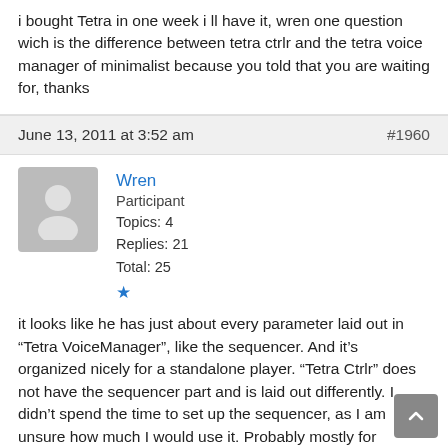i bought Tetra in one week i ll have it, wren one question wich is the difference between tetra ctrlr and the tetra voice manager of minimalist because you told that you are waiting for, thanks
June 13, 2011 at 3:52 am   #1960
Wren
Participant
Topics: 4
Replies: 21
Total: 25
★
it looks like he has just about every parameter laid out in "Tetra VoiceManager", like the sequencer. And it's organized nicely for a standalone player. "Tetra Ctrlr" does not have the sequencer part and is laid out differently. I didn't spend the time to set up the sequencer, as I am unsure how much I would use it. Probably mostly for varying portamento and delay effects. But I'll wait until